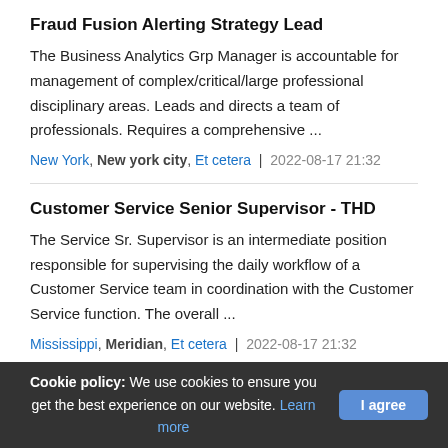Fraud Fusion Alerting Strategy Lead
The Business Analytics Grp Manager is accountable for management of complex/critical/large professional disciplinary areas. Leads and directs a team of professionals. Requires a comprehensive ...
New York, New york city, Et cetera | 2022-08-17 21:32
Customer Service Senior Supervisor - THD
The Service Sr. Supervisor is an intermediate position responsible for supervising the daily workflow of a Customer Service team in coordination with the Customer Service function. The overall ...
Mississippi, Meridian, Et cetera | 2022-08-17 21:32
Loan Doc & Proc Assoc Analyst
Cookie policy: We use cookies to ensure you get the best experience on our website. Learn more